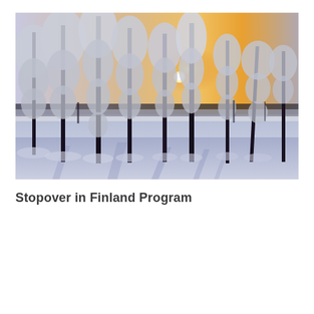[Figure (photo): Winter landscape in Finland: snow-covered pine trees with long shadows cast on a snowy ground, a frozen lake or open field in the background, and a warm golden sunset sky with the sun visible through the trees.]
Stopover in Finland Program